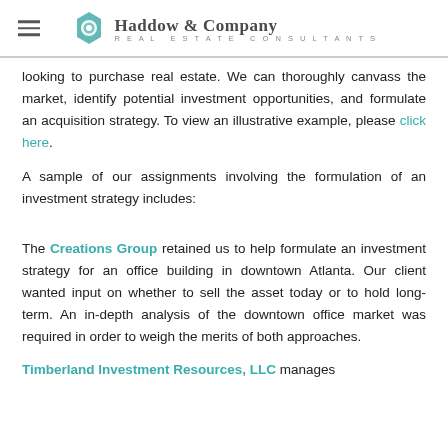Haddow & Company Real Estate Consultants
looking to purchase real estate. We can thoroughly canvass the market, identify potential investment opportunities, and formulate an acquisition strategy. To view an illustrative example, please click here.
A sample of our assignments involving the formulation of an investment strategy includes:
The Creations Group retained us to help formulate an investment strategy for an office building in downtown Atlanta. Our client wanted input on whether to sell the asset today or to hold long-term. An in-depth analysis of the downtown office market was required in order to weigh the merits of both approaches.
Timberland Investment Resources, LLC manages approximately 100 acres...